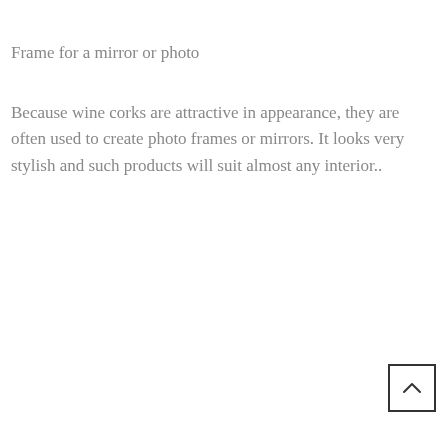Frame for a mirror or photo
Because wine corks are attractive in appearance, they are often used to create photo frames or mirrors. It looks very stylish and such products will suit almost any interior..
[Figure (other): Back to top button: a square box with an upward-pointing chevron arrow inside]